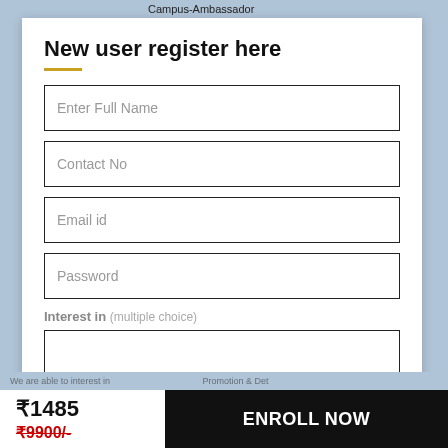Campus-Ambassador
New user register here
Enter Full Name
Contact No
Email id
Password
Interest in (multiple choice)
₹1485
₹9900/-
ENROLL NOW